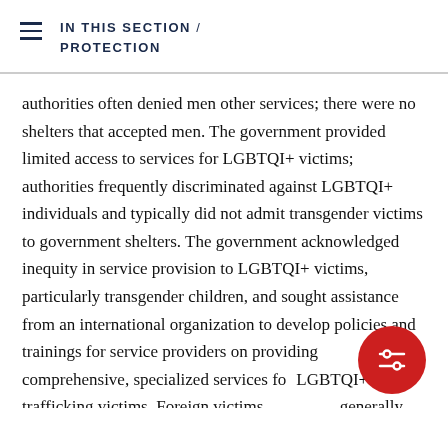IN THIS SECTION / PROTECTION
authorities often denied men other services; there were no shelters that accepted men. The government provided limited access to services for LGBTQI+ victims; authorities frequently discriminated against LGBTQI+ individuals and typically did not admit transgender victims to government shelters. The government acknowledged inequity in service provision to LGBTQI+ victims, particularly transgender children, and sought assistance from an international organization to develop policies and trainings for service providers on providing comprehensive, specialized services for LGBTQI+ child trafficking victims. Foreign victims were generally eligible for the same services as Peruvian victims, but the government did not specify whether it